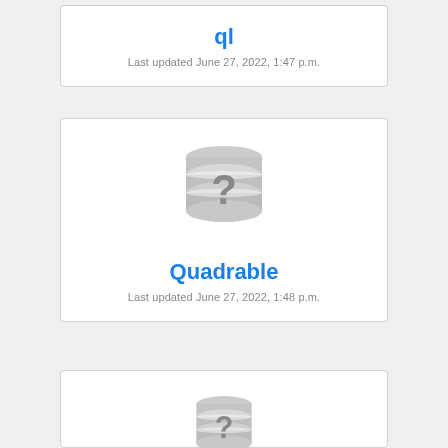ql
Last updated June 27, 2022, 1:47 p.m.
[Figure (illustration): Gray database icon with question mark]
Quadrable
Last updated June 27, 2022, 1:48 p.m.
[Figure (illustration): Gray database icon with question mark (partial, bottom card)]